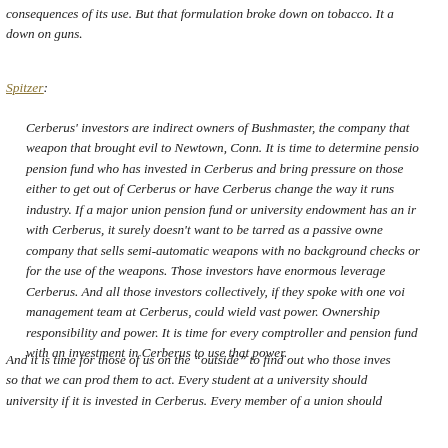consequences of its use. But that formulation broke down on tobacco. It also broke down on guns.
Spitzer:
Cerberus' investors are indirect owners of Bushmaster, the company that made the weapon that brought evil to Newtown, Conn. It is time to determine pension fund who has invested in Cerberus and bring pressure on those either to get out of Cerberus or have Cerberus change the way it runs industry. If a major union pension fund or university endowment has an in with Cerberus, it surely doesn't want to be tarred as a passive owne company that sells semi-automatic weapons with no background checks o for the use of the weapons. Those investors have enormous leverage Cerberus. And all those investors collectively, if they spoke with one vo management team at Cerberus, could wield vast power. Ownership responsibility and power. It is time for every comptroller and pension fund with an investment in Cerberus to use that power.
And it is time for those of us on the "outside" to find out who those inve so that we can prod them to act. Every student at a university should university if it is invested in Cerberus. Every member of a union should